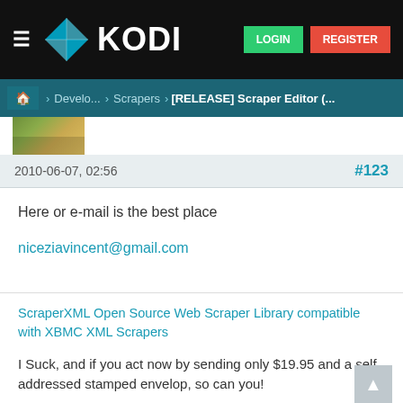KODI — LOGIN | REGISTER
Home > Develo... > Scrapers > [RELEASE] Scraper Editor (...
2010-06-07, 02:56
#123
Here or e-mail is the best place
niceziavincent@gmail.com
ScraperXML Open Source Web Scraper Library compatible with XBMC XML Scrapers
I Suck, and if you act now by sending only $19.95 and a self addressed stamped envelop, so can you!